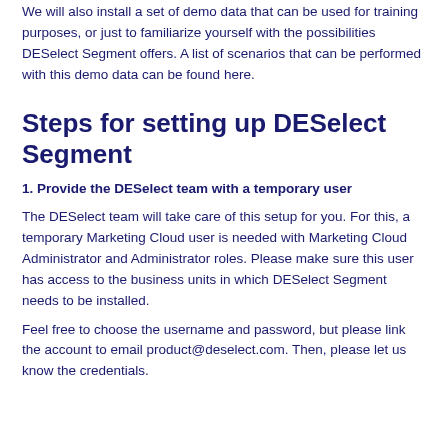We will also install a set of demo data that can be used for training purposes, or just to familiarize yourself with the possibilities DESelect Segment offers. A list of scenarios that can be performed with this demo data can be found here.
Steps for setting up DESelect Segment
1. Provide the DESelect team with a temporary user
The DESelect team will take care of this setup for you. For this, a temporary Marketing Cloud user is needed with Marketing Cloud Administrator and Administrator roles. Please make sure this user has access to the business units in which DESelect Segment needs to be installed.
Feel free to choose the username and password, but please link the account to email product@deselect.com. Then, please let us know the credentials.